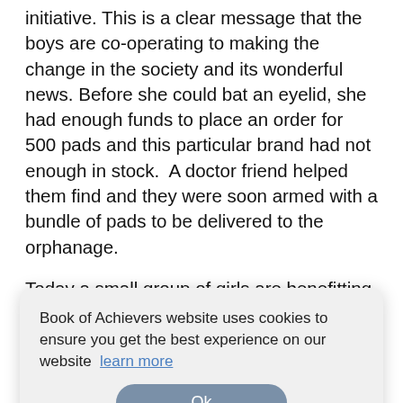initiative. This is a clear message that the boys are co-operating to making the change in the society and its wonderful news. Before she could bat an eyelid, she had enough funds to place an order for 500 pads and this particular brand had not enough in stock. A doctor friend helped them find and they were soon armed with a bundle of pads to be delivered to the orphanage.
Today a small group of girls are benefitting but Sanjana is ambitious and wants to carry on her good work by reaching out to more orphanages who deserve this little bit of comfort. It is a community effort and she would like more people to join, so if you would like for the flow to continue... good cause never goes unnoticed and there are thousands who are surely waiting to contribute.
Book of Achievers website uses cookies to ensure you get the best experience on our website  learn more
Ok